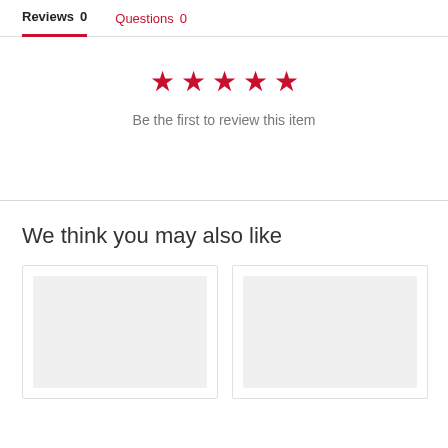Reviews 0    Questions 0
[Figure (other): Five red star rating icons centered on page]
Be the first to review this item
We think you may also like
[Figure (other): Two product card placeholders with light gray image areas]